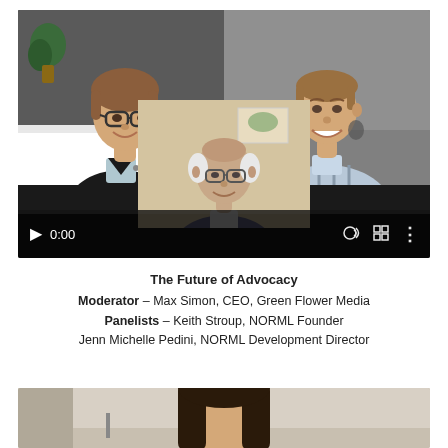[Figure (screenshot): Video call thumbnail showing three participants in a grid layout: top-left is a person with glasses and short hair in a dark blazer against a light interior background, top-right is a smiling man in a plaid shirt against a gray background, and center bottom is an older man with white hair and glasses. Video player controls are visible at the bottom including a play button, time stamp '0:00', volume, fullscreen, and more options icons.]
The Future of Advocacy
Moderator – Max Simon, CEO, Green Flower Media
Panelists – Keith Stroup, NORML Founder
Jenn Michelle Pedini, NORML Development Director
[Figure (photo): Partial view of a person with long dark hair against a light background, cropped at the bottom of the page.]